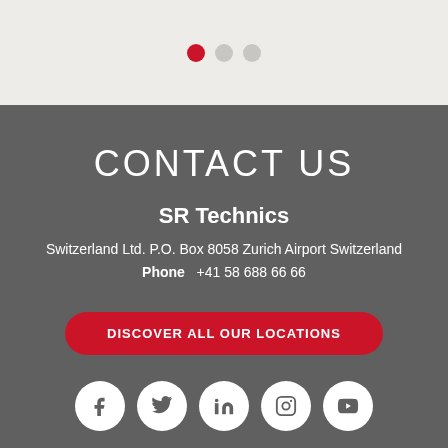[Figure (other): Carousel navigation dots: one red filled dot, two gray dots]
CONTACT US
SR Technics
Switzerland Ltd. P.O. Box 8058 Zurich Airport Switzerland
Phone   +41 58 688 66 66
DISCOVER ALL OUR LOCATIONS
[Figure (other): Social media icons: Facebook, Twitter, LinkedIn, Instagram, YouTube]